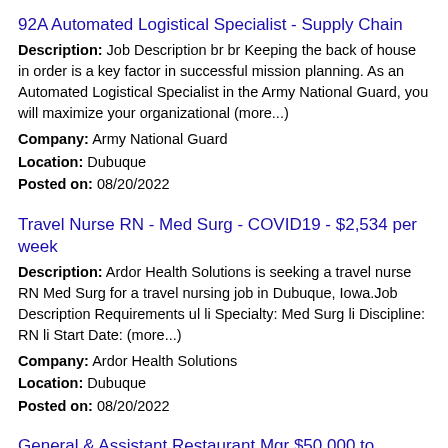92A Automated Logistical Specialist - Supply Chain
Description: Job Description br br Keeping the back of house in order is a key factor in successful mission planning. As an Automated Logistical Specialist in the Army National Guard, you will maximize your organizational (more...)
Company: Army National Guard
Location: Dubuque
Posted on: 08/20/2022
Travel Nurse RN - Med Surg - COVID19 - $2,534 per week
Description: Ardor Health Solutions is seeking a travel nurse RN Med Surg for a travel nursing job in Dubuque, Iowa.Job Description Requirements ul li Specialty: Med Surg li Discipline: RN li Start Date: (more...)
Company: Ardor Health Solutions
Location: Dubuque
Posted on: 08/20/2022
General & Assistant Restaurant Mgr $50,000 to $70,000
Description: Start now and receive a 3,000 Bonus Our employees love working at Panera Bread Customers and co-workers will become your Panera family. At Panera Bread, warmth is our business. Make it yours. Our guests (more...)